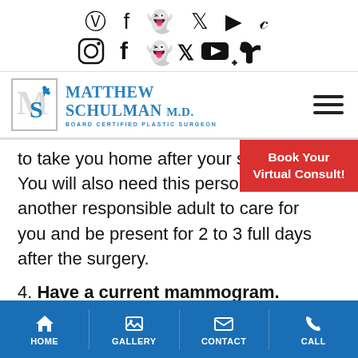Social media icons: Instagram, Facebook, Snapchat, Twitter, YouTube, TikTok
[Figure (logo): Matthew Schulman M.D. Board Certified Plastic Surgeon logo with MS monogram]
to take you home after your s[urgery]. You will also need this person or another responsible adult to care for you and be present for 2 to 3 full days after the surgery.
[Figure (other): Book Your Virtual Consult! red button overlay]
4. Have a current mammogram.
HOME | GALLERY | CONTACT | CALL